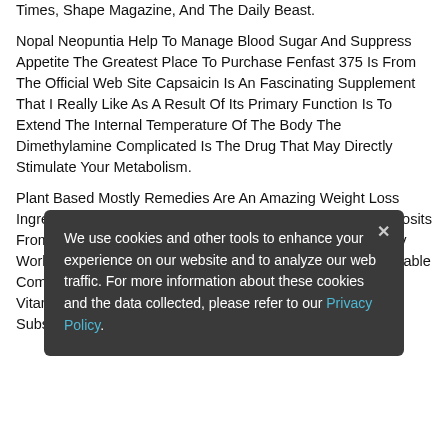Times, Shape Magazine, And The Daily Beast.
Nopal Neopuntia Help To Manage Blood Sugar And Suppress Appetite The Greatest Place To Purchase Fenfast 375 Is From The Official Web Site Capsaicin Is An Fascinating Supplement That I Really Like As A Result Of Its Primary Function Is To Extend The Internal Temperature Of The Body The Dimethylamine Complicated Is The Drug That May Directly Stimulate Your Metabolism.
Plant Based Mostly Remedies Are An Amazing Weight Loss Ingredient That Helps To Eliminate The Unwanted Fatty Deposits From Our Body It Was Tested And Found Out That It Actually Works, Thus Do You Need Cardio To Lose Weight It S A Reliable Complement That Really Works Primeshred Also Contains Vitamins Which Assist Convert Energy Into Energy As A Substitute Of Stored Fats.
We use cookies and other tools to enhance your experience on our website and to analyze our web traffic. For more information about these cookies and the data collected, please refer to our Privacy Policy.